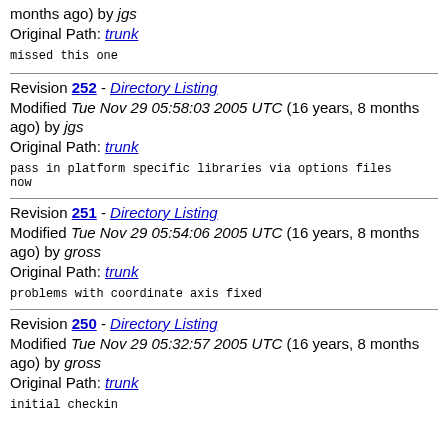months ago) by jgs
Original Path: trunk
missed this one
Revision 252 - Directory Listing
Modified Tue Nov 29 05:58:03 2005 UTC (16 years, 8 months ago) by jgs
Original Path: trunk
pass in platform specific libraries via options files
now
Revision 251 - Directory Listing
Modified Tue Nov 29 05:54:06 2005 UTC (16 years, 8 months ago) by gross
Original Path: trunk
problems with coordinate axis fixed
Revision 250 - Directory Listing
Modified Tue Nov 29 05:32:57 2005 UTC (16 years, 8 months ago) by gross
Original Path: trunk
initial checkin